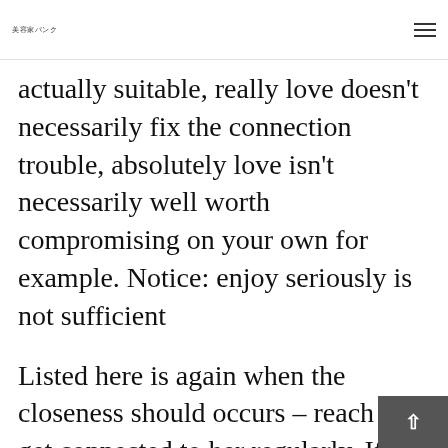美容家パンク
actually suitable, really love doesn't necessarily fix the connection trouble, absolutely love isn't necessarily well worth compromising on your own for example. Notice: enjoy seriously is not sufficient
Listed here is again when the closeness should occurs – reach and get connected to her regularly. If you should they are both in a same cultural ring, thing gets easy and normal, demonstrably. Become the lady pal, understand them and let h